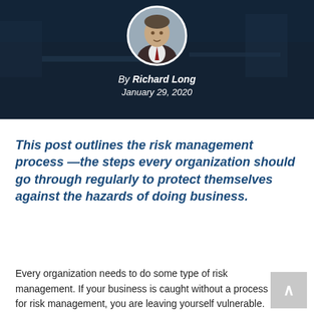[Figure (photo): Dark background header image with a circular portrait photo of a man in a suit, with a blurred office/conference room background]
By Richard Long
January 29, 2020
This post outlines the risk management process —the steps every organization should go through regularly to protect themselves against the hazards of doing business.
Every organization needs to do some type of risk management. If your business is caught without a process for risk management, you are leaving yourself vulnerable.